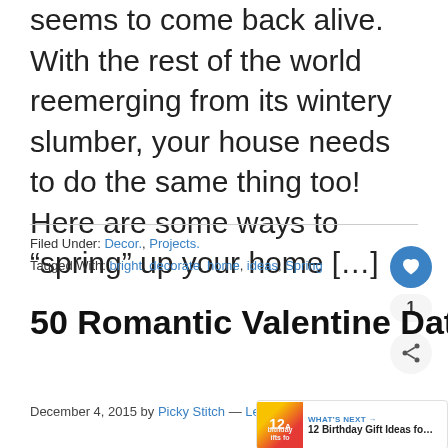seems to come back alive. With the rest of the world reemerging from its wintery slumber, your house needs to do the same thing too! Here are some ways to “spring” up your home […]
Filed Under: Decor., Projects.
Tagged With: bright, decorate, home, ideas, Spring
50 Romantic Valentine Date Ideas
December 4, 2015 by Picky Stitch — Leave a Comment